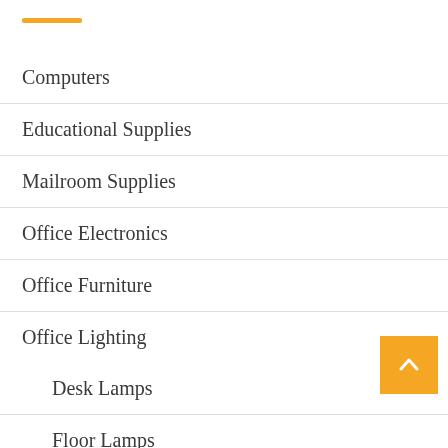Computers
Educational Supplies
Mailroom Supplies
Office Electronics
Office Furniture
Office Lighting
Desk Lamps
Floor Lamps
Under-Cabinet Lamps
Office Supplies